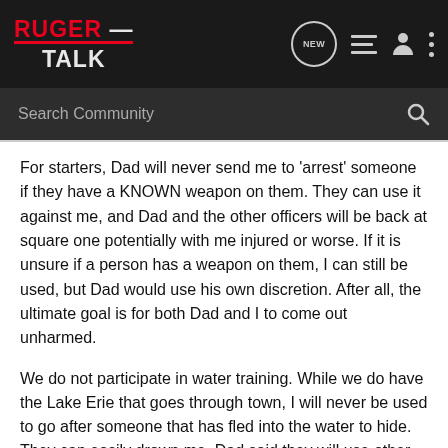RUGER TALK
For starters, Dad will never send me to 'arrest' someone if they have a KNOWN weapon on them. They can use it against me, and Dad and the other officers will be back at square one potentially with me injured or worse. If it is unsure if a person has a weapon on them, I can still be used, but Dad would use his own discretion. After all, the ultimate goal is for both Dad and I to come out unharmed.
We do not participate in water training. While we do have the Lake Erie that goes through town, I will never be used to go after someone that has fled into the water to hide. They can easily drown me. Dad said they will use other methods to get the person out, but I will not be one of them.